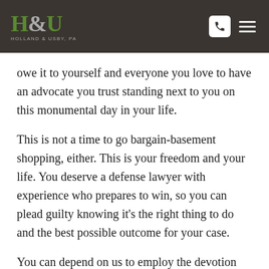Holland & Usby, PA
owe it to yourself and everyone you love to have an advocate you trust standing next to you on this monumental day in your life.
This is not a time to go bargain-basement shopping, either. This is your freedom and your life. You deserve a defense lawyer with experience who prepares to win, so you can plead guilty knowing it’s the right thing to do and the best possible outcome for your case.
You can depend on us to employ the devotion and